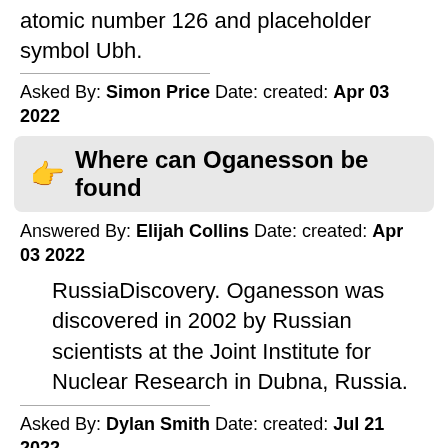atomic number 126 and placeholder symbol Ubh.
Asked By: Simon Price Date: created: Apr 03 2022
Where can Oganesson be found
Answered By: Elijah Collins Date: created: Apr 03 2022
RussiaDiscovery. Oganesson was discovered in 2002 by Russian scientists at the Joint Institute for Nuclear Research in Dubna, Russia.
Asked By: Dylan Smith Date: created: Jul 21 2022
What is element 140
Answered By: Simon Walker Date: created: Jul 23 2022
Corbomite (symbol Ct) is a chemical element, atomic number 140 on the